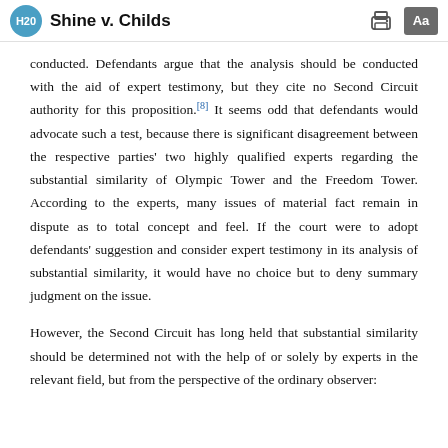H20  Shine v. Childs
conducted. Defendants argue that the analysis should be conducted with the aid of expert testimony, but they cite no Second Circuit authority for this proposition.[8] It seems odd that defendants would advocate such a test, because there is significant disagreement between the respective parties' two highly qualified experts regarding the substantial similarity of Olympic Tower and the Freedom Tower. According to the experts, many issues of material fact remain in dispute as to total concept and feel. If the court were to adopt defendants' suggestion and consider expert testimony in its analysis of substantial similarity, it would have no choice but to deny summary judgment on the issue.
However, the Second Circuit has long held that substantial similarity should be determined not with the help of or solely by experts in the relevant field, but from the perspective of the ordinary observer: